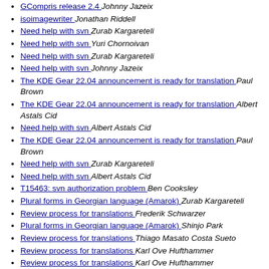GCompris release 2.4  Johnny Jazeix
isoimagewriter  Jonathan Riddell
Need help with svn  Zurab Kargareteli
Need help with svn  Yuri Chornoivan
Need help with svn  Zurab Kargareteli
Need help with svn  Johnny Jazeix
The KDE Gear 22.04 announcement is ready for translation  Paul Brown
The KDE Gear 22.04 announcement is ready for translation  Albert Astals Cid
Need help with svn  Albert Astals Cid
The KDE Gear 22.04 announcement is ready for translation  Paul Brown
Need help with svn  Zurab Kargareteli
Need help with svn  Albert Astals Cid
T15463: svn authorization problem  Ben Cooksley
Plural forms in Georgian language (Amarok)  Zurab Kargareteli
Review process for translations  Frederik Schwarzer
Plural forms in Georgian language (Amarok)  Shinjo Park
Review process for translations  Thiago Masato Costa Sueto
Review process for translations  Karl Ove Hufthammer
Review process for translations  Karl Ove Hufthammer
Review process for translations  Karl Ove Hufthammer
Plural forms in Georgian language (Amarok)  Albert Astals Cid